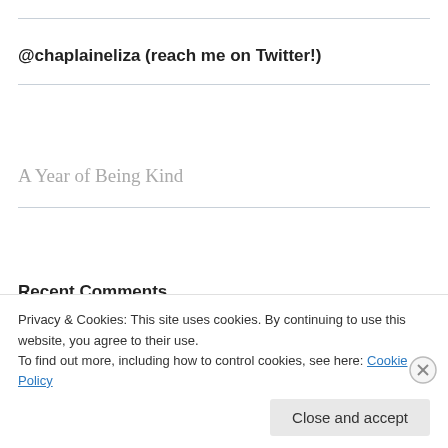@chaplaineliza (reach me on Twitter!)
A Year of Being Kind
Recent Comments
Keeping Quiet, Being… on Keeping Quiet, Being Kind
Privacy & Cookies: This site uses cookies. By continuing to use this website, you agree to their use.
To find out more, including how to control cookies, see here: Cookie Policy
Close and accept